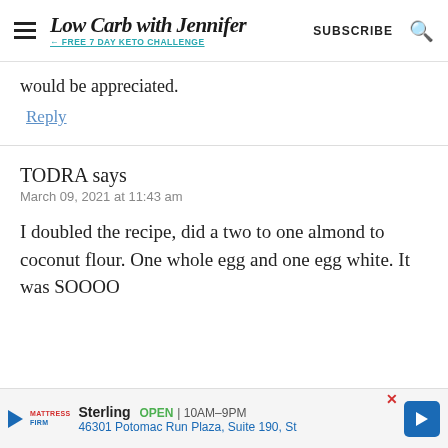Low Carb with Jennifer — FREE 7 DAY KETO CHALLENGE — SUBSCRIBE
would be appreciated.
Reply
TODRA says
March 09, 2021 at 11:43 am
I doubled the recipe, did a two to one almond to coconut flour. One whole egg and one egg white. It was SOOOO g...
[Figure (screenshot): Advertisement banner: Mattress Firm store, Sterling, OPEN 10AM-9PM, 46301 Potomac Run Plaza, Suite 190, St]